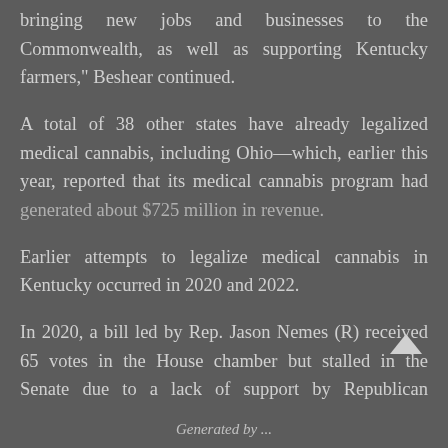bringing new jobs and businesses to the Commonwealth, as well as supporting Kentucky farmers," Beshear continued.
A total of 38 other states have already legalized medical cannabis, including Ohio—which, earlier this year, reported that its medical cannabis program had generated about $725 million in revenue.
Earlier attempts to legalize medical cannabis in Kentucky occurred in 2020 and 2022.
In 2020, a bill led by Rep. Jason Nemes (R) received 65 votes in the House chamber but stalled in the Senate due to a lack of support by Republican members and a shortened session due to COVID-19.
In March of this year, the Kentucky House of Representatives voted 59-34 to pass a medical